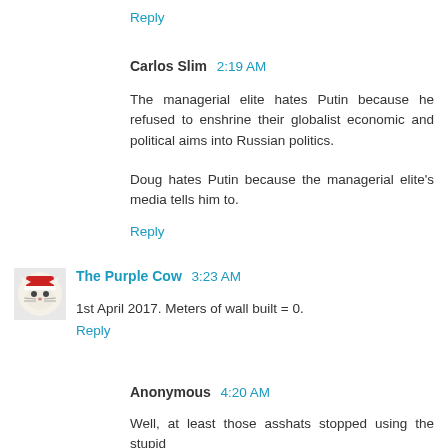Reply
Carlos Slim 2:19 AM
The managerial elite hates Putin because he refused to enshrine their globalist economic and political aims into Russian politics.
Doug hates Putin because the managerial elite's media tells him to.
Reply
The Purple Cow 3:23 AM
1st April 2017. Meters of wall built = 0.
Reply
Anonymous 4:20 AM
Well, at least those asshats stopped using the stupid...